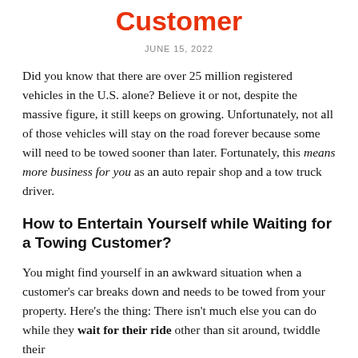Customer
JUNE 15, 2022
Did you know that there are over 25 million registered vehicles in the U.S. alone? Believe it or not, despite the massive figure, it still keeps on growing. Unfortunately, not all of those vehicles will stay on the road forever because some will need to be towed sooner than later. Fortunately, this means more business for you as an auto repair shop and a tow truck driver.
How to Entertain Yourself while Waiting for a Towing Customer?
You might find yourself in an awkward situation when a customer's car breaks down and needs to be towed from your property. Here's the thing: There isn't much else you can do while they wait for their ride other than sit around, twiddle their